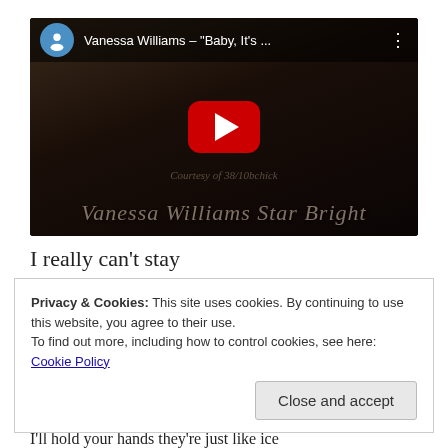[Figure (screenshot): YouTube video thumbnail showing Vanessa Williams Star Bright album with play button overlay. Video title: Vanessa Williams – "Baby, It's ..."]
I really can't stay
Privacy & Cookies: This site uses cookies. By continuing to use this website, you agree to their use.
To find out more, including how to control cookies, see here: Cookie Policy
I'll hold your hands they're just like ice